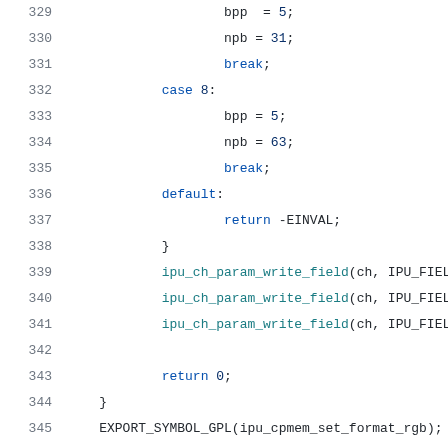[Figure (screenshot): Source code listing showing lines 329-350 of a C file, featuring a switch-case block handling bpp/npb assignments, ipu_ch_param_write_field calls, and a new function ipu_cpmem_set_format_passthrough declaration.]